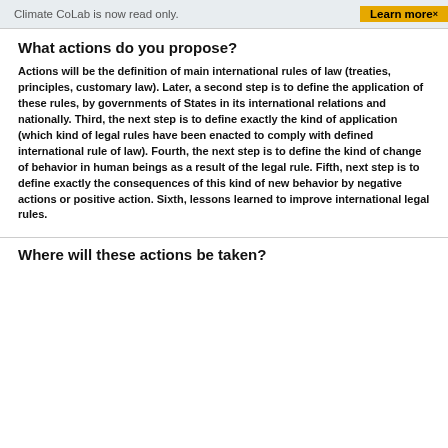Climate CoLab is now read only.   Learn more×
What actions do you propose?
Actions will be the definition of main international rules of law (treaties, principles, customary law). Later, a second step is to define the application of these rules, by governments of States in its international relations and nationally. Third, the next step is to define exactly the kind of application (which kind of legal rules have been enacted to comply with defined international rule of law). Fourth, the next step is to define the kind of change of behavior in human beings as a result of the legal rule. Fifth, next step is to define exactly the consequences of this kind of new behavior by negative actions or positive action. Sixth, lessons learned to improve international legal rules.
Where will these actions be taken?